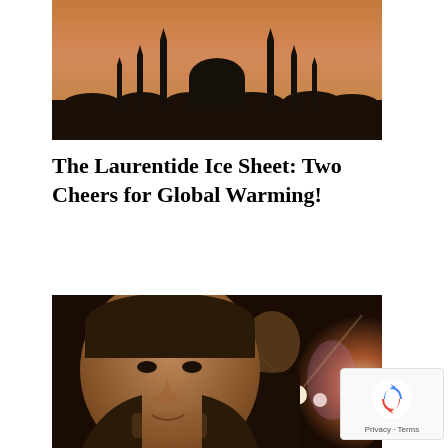[Figure (photo): Silhouette of minarets and a mosque dome against an orange-pink dusk sky]
The Laurentide Ice Sheet: Two Cheers for Global Warming!
[Figure (photo): Close-up photo of a man in dark clothing taking a selfie at night, with another person visible behind him and bright lights in the background]